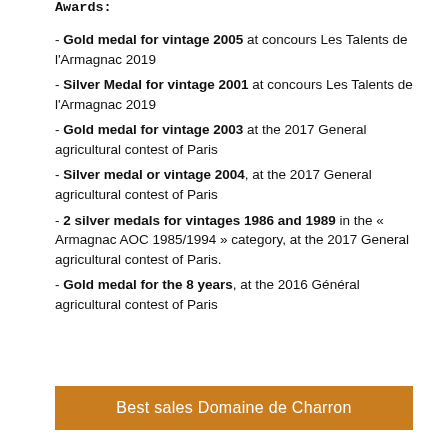- Gold medal for vintage 2005 at concours Les Talents de l'Armagnac 2019
- Silver Medal for vintage 2001 at concours Les Talents de l'Armagnac 2019
- Gold medal for vintage 2003 at the 2017 General agricultural contest of Paris
- Silver medal or vintage 2004, at the 2017 General agricultural contest of Paris
- 2 silver medals for vintages 1986 and 1989 in the « Armagnac AOC 1985/1994 » category, at the 2017 General agricultural contest of Paris.
- Gold medal for the 8 years, at the 2016 Général agricultural contest of Paris
Best sales Domaine de Charron